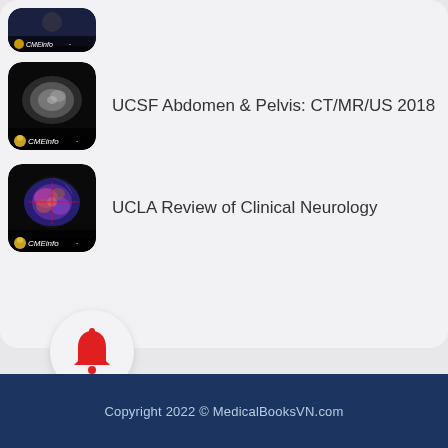[Figure (screenshot): Partially visible CMEinfo app thumbnail at top (cropped)]
UCSF Abdomen & Pelvis: CT/MR/US 2018
UCLA Review of Clinical Neurology
[Figure (logo): Bell notification icon in white circle]
Copyright 2022 © MedicalBooksVN.com